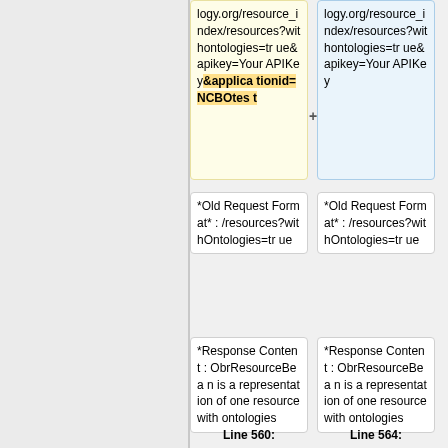logy.org/resource_index/resources?withontologies=true&apikey=YourAPIKey&applicationid=NCBOtest
logy.org/resource_index/resources?withontologies=true&apikey=YourAPIKey
*Old Request Format* : /resources?withOntologies=true
*Old Request Format* : /resources?withOntologies=true
*Response Content : ObrResourceBean is a representation of one resource with ontologies
*Response Content : ObrResourceBean is a representation of one resource with ontologies
Line 560:
Line 564: